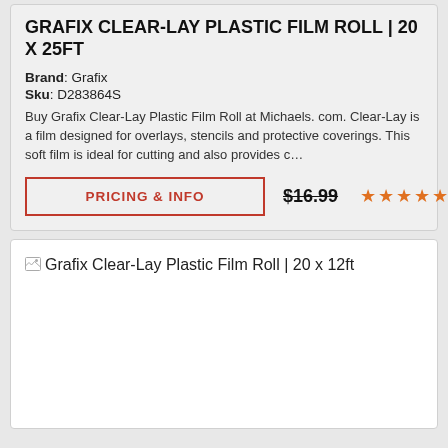GRAFIX CLEAR-LAY PLASTIC FILM ROLL | 20 X 25FT
Brand: Grafix
Sku: D283864S
Buy Grafix Clear-Lay Plastic Film Roll at Michaels. com. Clear-Lay is a film designed for overlays, stencils and protective coverings. This soft film is ideal for cutting and also provides c…
PRICING & INFO
$16.99
[Figure (other): Five orange star rating icons]
[Figure (other): Broken image placeholder for Grafix Clear-Lay Plastic Film Roll | 20 x 12ft with alt text displayed]